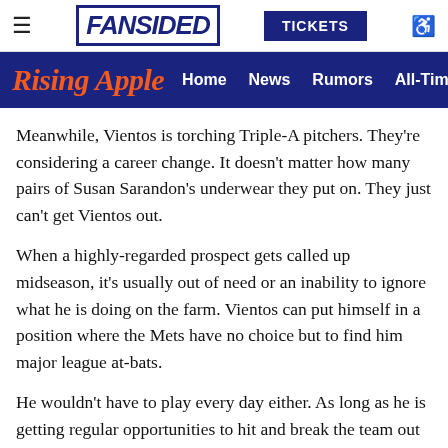FANSIDED | TICKETS
Rising Apple | Home | News | Rumors | All-Time Lists
Meanwhile, Vientos is torching Triple-A pitchers. They're considering a career change. It doesn't matter how many pairs of Susan Sarandon's underwear they put on. They just can't get Vientos out.
When a highly-regarded prospect gets called up midseason, it's usually out of need or an inability to ignore what he is doing on the farm. Vientos can put himself in a position where the Mets have no choice but to find him major league at-bats.
He wouldn't have to play every day either. As long as he is getting regular opportunities to hit and break the team out of a slump, Vientos could be a guy we see promoted mid-year to wake the rest of the team up.
For sure, this won't take place until after the point comes when the Mets can keep those seven years of big league control on him—current CBA negotiations pending. Vientos isn't the kind of player